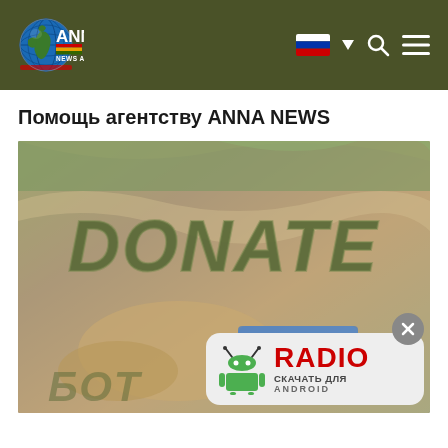ANNA NEWS AGENCY — header navigation
Помощь агентству ANNA NEWS
[Figure (photo): Donate image showing hands with money and credit card, with 'DONATE' text overlaid in large olive/military-style font. An overlay popup shows an Android Radio app download banner in the bottom right corner, and a close (X) button.]